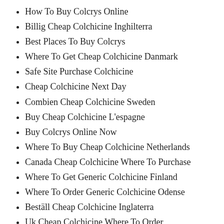How To Buy Colcrys Online
Billig Cheap Colchicine Inghilterra
Best Places To Buy Colcrys
Where To Get Cheap Colchicine Danmark
Safe Site Purchase Colchicine
Cheap Colchicine Next Day
Combien Cheap Colchicine Sweden
Buy Cheap Colchicine L'espagne
Buy Colcrys Online Now
Where To Buy Cheap Colchicine Netherlands
Canada Cheap Colchicine Where To Purchase
Where To Get Generic Colchicine Finland
Where To Order Generic Colchicine Odense
Beställ Cheap Colchicine Inglaterra
Uk Cheap Colchicine Where To Order
Combien Online Colchicine Inglaterra